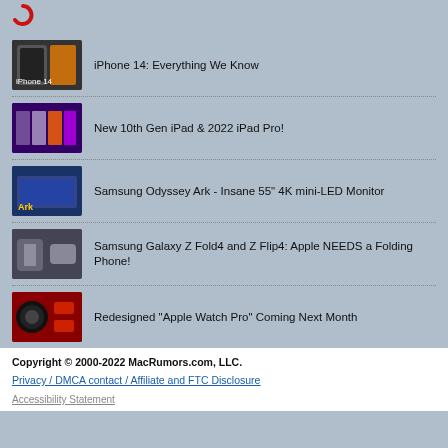[Figure (logo): MacRumors logo icon (red partial circle)]
iPhone 14: Everything We Know
New 10th Gen iPad & 2022 iPad Pro!
Samsung Odyssey Ark - Insane 55" 4K mini-LED Monitor
Samsung Galaxy Z Fold4 and Z Flip4: Apple NEEDS a Folding Phone!
Redesigned "Apple Watch Pro" Coming Next Month
Copyright © 2000-2022 MacRumors.com, LLC.
Privacy / DMCA contact / Affiliate and FTC Disclosure
Accessibility Statement